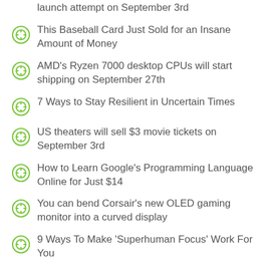launch attempt on September 3rd
This Baseball Card Just Sold for an Insane Amount of Money
AMD's Ryzen 7000 desktop CPUs will start shipping on September 27th
7 Ways to Stay Resilient in Uncertain Times
US theaters will sell $3 movie tickets on September 3rd
How to Learn Google's Programming Language Online for Just $14
You can bend Corsair's new OLED gaming monitor into a curved display
9 Ways To Make 'Superhuman Focus' Work For You
All the gear you need to game-stream like a pro